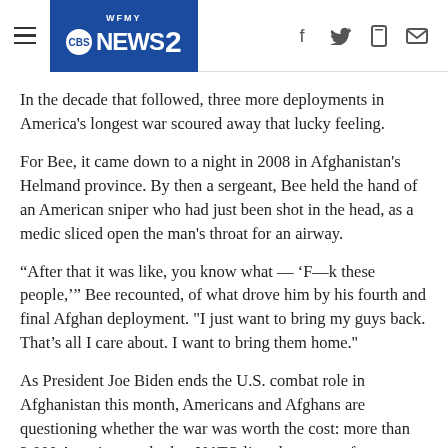WFMY NEWS 2
In the decade that followed, three more deployments in America's longest war scoured away that lucky feeling.
For Bee, it came down to a night in 2008 in Afghanistan's Helmand province. By then a sergeant, Bee held the hand of an American sniper who had just been shot in the head, as a medic sliced open the man's throat for an airway.
“After that it was like, you know what — ‘F—k these people,’” Bee recounted, of what drove him by his fourth and final Afghan deployment. "I just want to bring my guys back. That’s all I care about. I want to bring them home.''
As President Joe Biden ends the U.S. combat role in Afghanistan this month, Americans and Afghans are questioning whether the war was worth the cost: more than 3,000 American and other NATO lives lost, tens of thousands of Afghan and other billions of dollars in U.S. dollars